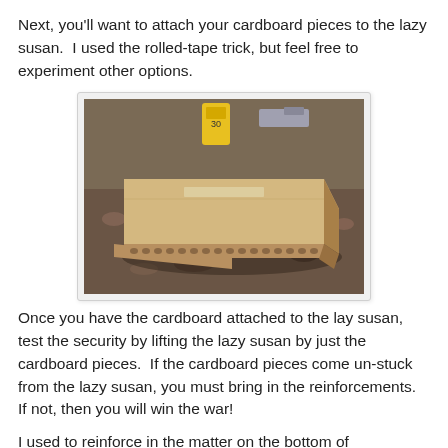Next, you'll want to attach your cardboard pieces to the lazy susan.  I used the rolled-tape trick, but feel free to experiment other options.
[Figure (photo): Photo of stacked cardboard pieces on a granite countertop, showing corrugated edges and flat top surface. A yellow container is visible in the background.]
Once you have the cardboard attached to the lay susan, test the security by lifting the lazy susan by just the cardboard pieces.  If the cardboard pieces come un-stuck from the lazy susan, you must bring in the reinforcements.  If not, then you will win the war!
I used to reinforce in the matter...